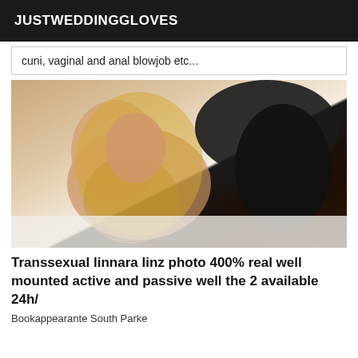JUSTWEDDINGGLOVES
cuni, vaginal and anal blowjob etc...
[Figure (photo): Photo of a person with long blonde hair wearing black lingerie, posed on white bedding]
Transsexual linnara linz photo 400% real well mounted active and passive well the 2 available 24h/
Bookappearante South Parke